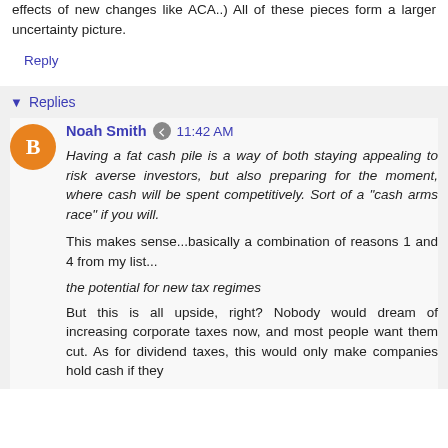effects of new changes like ACA..) All of these pieces form a larger uncertainty picture.
Reply
Replies
Noah Smith  11:42 AM
Having a fat cash pile is a way of both staying appealing to risk averse investors, but also preparing for the moment, where cash will be spent competitively. Sort of a "cash arms race" if you will.
This makes sense...basically a combination of reasons 1 and 4 from my list...
the potential for new tax regimes
But this is all upside, right? Nobody would dream of increasing corporate taxes now, and most people want them cut. As for dividend taxes, this would only make companies hold cash if they